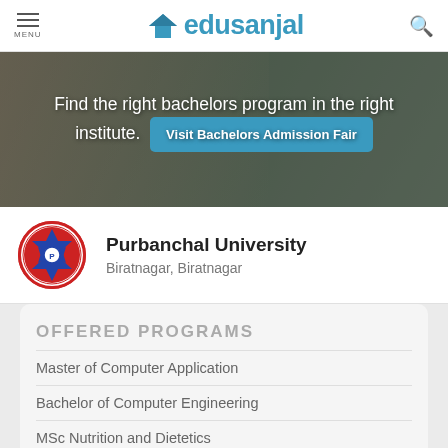MENU | edusanjal
[Figure (photo): Hero banner showing students with overlay text about finding bachelors program and a Visit Bachelors Admission Fair button]
Find the right bachelors program in the right institute.
Visit Bachelors Admission Fair
[Figure (logo): Purbanchal University circular logo with red border and blue star]
Purbanchal University
Biratnagar, Biratnagar
OFFERED PROGRAMS
Master of Computer Application
Bachelor of Computer Engineering
MSc Nutrition and Dietetics
Bachelor of Homeopathic Medicine and Surgery